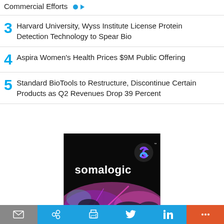Commercial Efforts
3  Harvard University, Wyss Institute License Protein Detection Technology to Spear Bio
4  Aspira Women's Health Prices $9M Public Offering
5  Standard BioTools to Restructure, Discontinue Certain Products as Q2 Revenues Drop 39 Percent
[Figure (photo): Somalogic advertisement showing the somalogic logo and brand imagery with dark background and colorful light effects]
Email | Share | Print | Twitter | LinkedIn | More